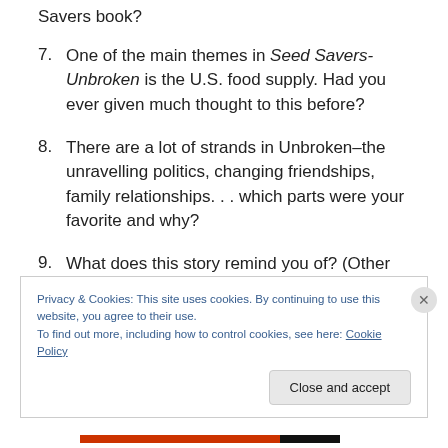Savers book?
7. One of the main themes in Seed Savers-Unbroken is the U.S. food supply. Had you ever given much thought to this before?
8. There are a lot of strands in Unbroken–the unravelling politics, changing friendships, family relationships. . . which parts were your favorite and why?
9. What does this story remind you of? (Other books, movies, current events…)
Privacy & Cookies: This site uses cookies. By continuing to use this website, you agree to their use.
To find out more, including how to control cookies, see here: Cookie Policy